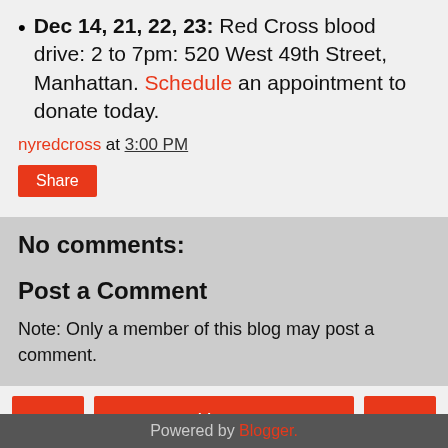Dec 14, 21, 22, 23: Red Cross blood drive: 2 to 7pm: 520 West 49th Street, Manhattan. Schedule an appointment to donate today.
nyredcross at 3:00 PM
Share
No comments:
Post a Comment
Note: Only a member of this blog may post a comment.
‹  Home  ›
View web version
Powered by Blogger.